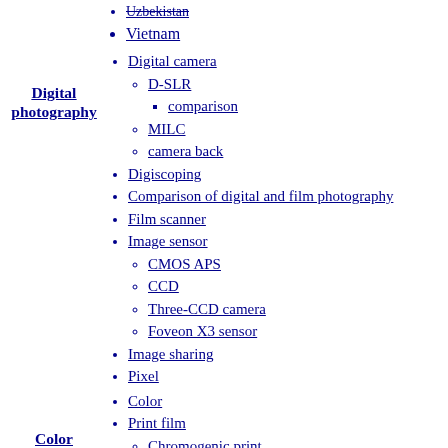Uzbekistan
Vietnam
Digital photography
Digital camera
D-SLR
comparison
MILC
camera back
Digiscoping
Comparison of digital and film photography
Film scanner
Image sensor
CMOS APS
CCD
Three-CCD camera
Foveon X3 sensor
Image sharing
Pixel
Color photography
Color
Print film
Chromogenic print
Reversal film
Color management
color space
primary color